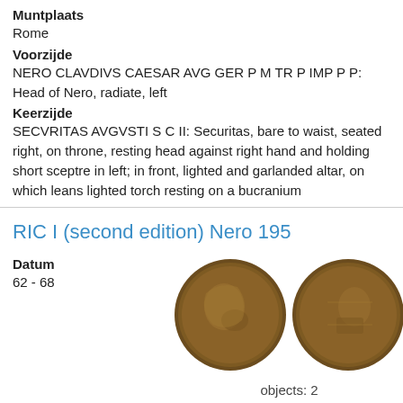Muntplaats
Rome
Voorzijde
NERO CLAVDIVS CAESAR AVG GER P M TR P IMP P P: Head of Nero, radiate, left
Keerzijde
SECVRITAS AVGVSTI S C II: Securitas, bare to waist, seated right, on throne, resting head against right hand and holding short sceptre in left; in front, lighted and garlanded altar, on which leans lighted torch resting on a bucranium
RIC I (second edition) Nero 195
Datum
62 - 68
[Figure (photo): Two ancient Roman bronze coins side by side. Left coin shows head of Nero, radiate, left. Right coin shows Securitas seated right.]
objects: 2
Denominatie
Dupondius